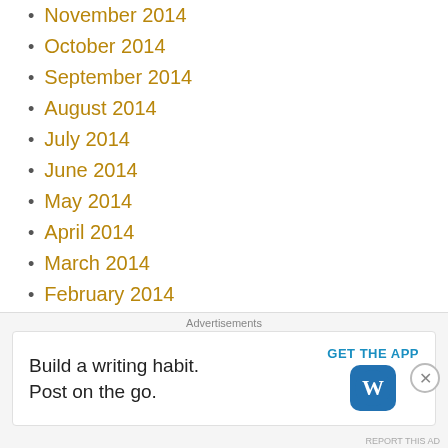November 2014
October 2014
September 2014
August 2014
July 2014
June 2014
May 2014
April 2014
March 2014
February 2014
January 2014
December 2013
November 2013
Tags
2WW Acupuncture Agonist/Antagonist/EPP Protocol AI
Advertisements
Build a writing habit. Post on the go. GET THE APP